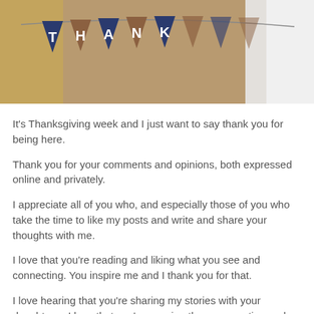[Figure (photo): Partial view of a decorative banner or garland with triangular pennants in dark navy blue and brown/tan colors, with the letters 'A', 'N', 'K' visible on the pennants. A white fabric is visible on the right side.]
It's Thanksgiving week and I just want to say thank you for being here.
Thank you for your comments and opinions, both expressed online and privately.
I appreciate all of you who, and especially those of you who take the time to like my posts and write and share your thoughts with me.
I love that you're reading and liking what you see and connecting. You inspire me and I thank you for that.
I love hearing that you're sharing my stories with your daughters.  I love that you're carrying the conversation and making it yours. We're connecting and I absolutely LOVE this.
We be y t th kf l f b it d l ti i f t d